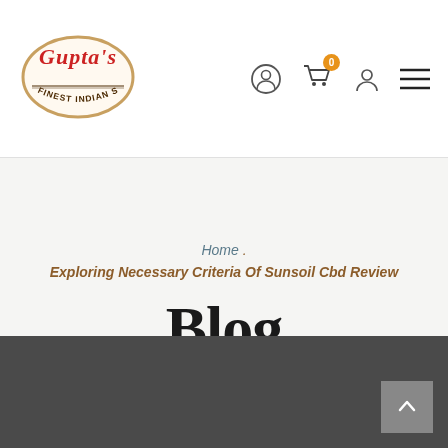Gupta's Finest Indian Sweets — navigation header with logo and icons
Home . Exploring Necessary Criteria Of Sunsoil Cbd Review
Blog
[Figure (other): Dark grey footer area with scroll-to-top button]